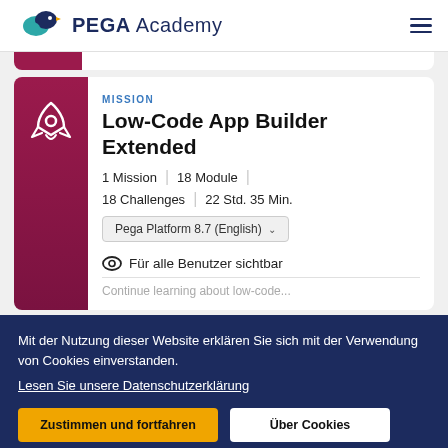PEGA Academy
MISSION
Low-Code App Builder Extended
1 Mission  |  18 Module  |  18 Challenges  |  22 Std. 35 Min.
Pega Platform 8.7 (English)
Für alle Benutzer sichtbar
Continue learning about low-code...
Mit der Nutzung dieser Website erklären Sie sich mit der Verwendung von Cookies einverstanden.
Lesen Sie unsere Datenschutzerklärung
Zustimmen und fortfahren
Über Cookies